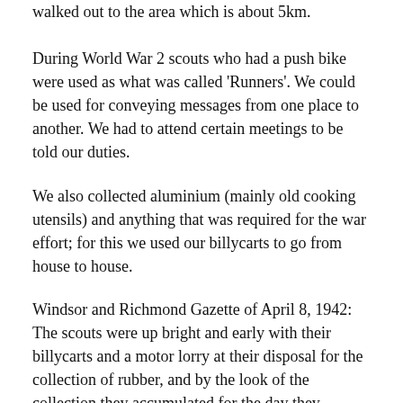walked out to the area which is about 5km.
During World War 2 scouts who had a push bike were used as what was called ‘Runners’. We could be used for conveying messages from one place to another. We had to attend certain meetings to be told our duties.
We also collected aluminium (mainly old cooking utensils) and anything that was required for the war effort; for this we used our billycarts to go from house to house.
Windsor and Richmond Gazette of April 8, 1942: The scouts were up bright and early with their billycarts and a motor lorry at their disposal for the collection of rubber, and by the look of the collection they accumulated for the day they deserve a pat on the back for their marvellous effort.
One vivid trip I remember was when some of the scouts